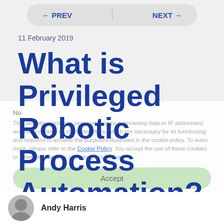← PREV | NEXT →
11 February 2019
What is Privileged Robotic Process Automation?
Notice
This website processes personal data (e.g. browsing data or IP addresses) and uses cookies or other identifiers, which are necessary for its functioning and required to achieve the purposes illustrated in the cookie policy. To learn more, please refer to the Cookie Policy. You accept the use of these cookies or other identifiers by accepting this notice.
Accept
Learn more and customize
Andy Harris